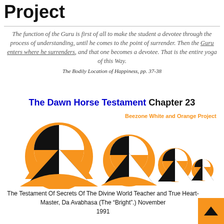Project
The function of the Guru is first of all to make the student a devotee through the process of understanding, until he comes to the point of surrender. Then the Guru enters where he surrenders, and that one becomes a devotee. That is the entire yoga of this Way.
The Bodily Location of Happiness, pp. 37-38
The Dawn Horse Testament Chapter 23
[Figure (illustration): Beezone White and Orange Project logo: four decreasing-size matryoshka-doll-like figures made of circles and triangles in orange, black, and white, with text 'Beezone White and Orange Project' in orange above]
The Testament Of Secrets Of The Divine World Teacher and True Heart-Master, Da Avabhasa (The “Bright”.) November 1991